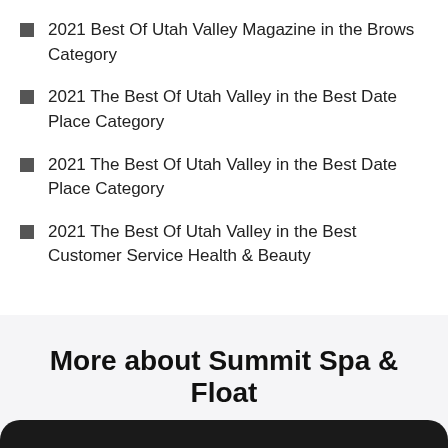2021 Best Of Utah Valley Magazine in the Brows Category
2021 The Best Of Utah Valley in the Best Date Place Category
2021 The Best Of Utah Valley in the Best Date Place Category
2021 The Best Of Utah Valley in the Best Customer Service Health & Beauty
More about Summit Spa & Float